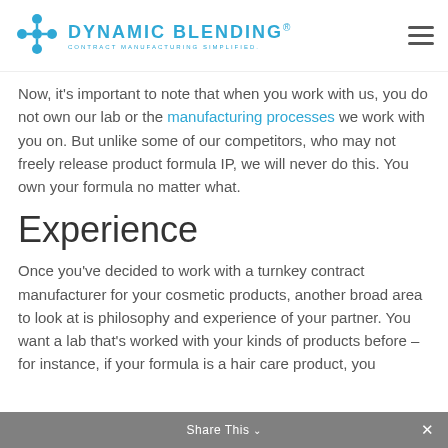DYNAMIC BLENDING. CONTRACT MANUFACTURING SIMPLIFIED.
Now, it's important to note that when you work with us, you do not own our lab or the manufacturing processes we work with you on. But unlike some of our competitors, who may not freely release product formula IP, we will never do this. You own your formula no matter what.
Experience
Once you've decided to work with a turnkey contract manufacturer for your cosmetic products, another broad area to look at is philosophy and experience of your partner. You want a lab that's worked with your kinds of products before – for instance, if your formula is a hair care product, you
Share This